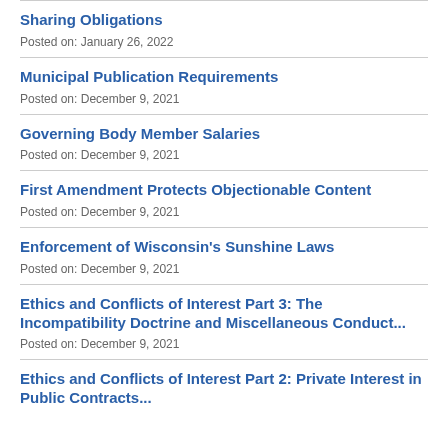Sharing Obligations
Posted on: January 26, 2022
Municipal Publication Requirements
Posted on: December 9, 2021
Governing Body Member Salaries
Posted on: December 9, 2021
First Amendment Protects Objectionable Content
Posted on: December 9, 2021
Enforcement of Wisconsin's Sunshine Laws
Posted on: December 9, 2021
Ethics and Conflicts of Interest Part 3: The Incompatibility Doctrine and Miscellaneous Conduct...
Posted on: December 9, 2021
Ethics and Conflicts of Interest Part 2: Private Interest in Public Contracts...